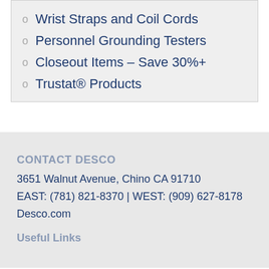Wrist Straps and Coil Cords
Personnel Grounding Testers
Closeout Items – Save 30%+
Trustat® Products
CONTACT DESCO
3651 Walnut Avenue, Chino CA 91710
EAST: (781) 821-8370 | WEST: (909) 627-8178
Desco.com
Useful Links